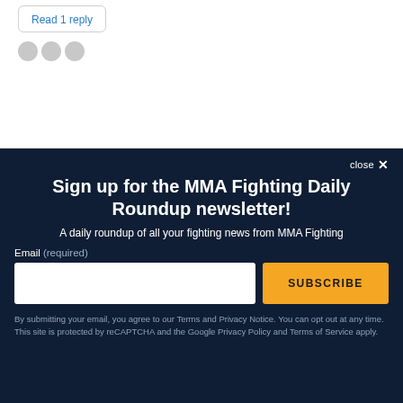Read 1 reply
Sign up for the MMA Fighting Daily Roundup newsletter!
A daily roundup of all your fighting news from MMA Fighting
Email (required)
SUBSCRIBE
By submitting your email, you agree to our Terms and Privacy Notice. You can opt out at any time. This site is protected by reCAPTCHA and the Google Privacy Policy and Terms of Service apply.